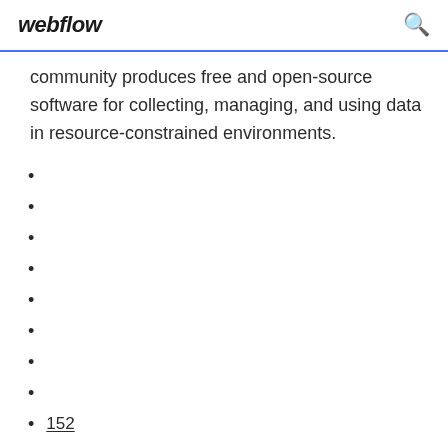webflow
community produces free and open-source software for collecting, managing, and using data in resource-constrained environments.
152